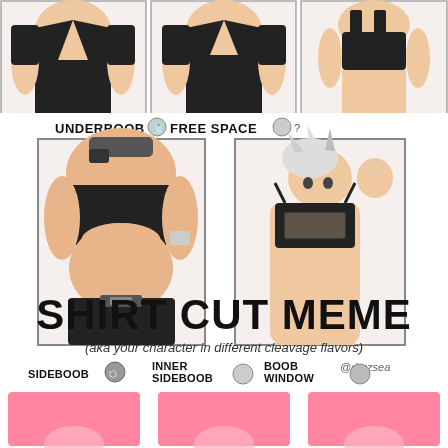[Figure (illustration): Three anime-style figures in black tops/bras showing different neckline cuts - top row panels]
[Figure (illustration): Two anime-style character illustrations showing UNDERBOOB and FREE SPACE shirt cuts, with @druzsea credit]
SHIRT CUT MEME
(aka your character in different cleavage flavors)
SIDEBOOB | INNER SIDEBOOB | BOOB WINDOW
[Figure (illustration): Three pink panels at bottom showing SIDEBOOB, INNER SIDEBOOB, BOOB WINDOW categories (partially visible)]